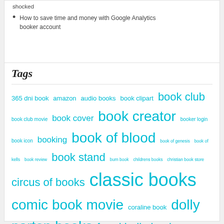shocked
How to save time and money with Google Analytics booker account
Tags
365 dni book amazon audio books book clipart book club book club movie book cover book creator booker login book icon booking book of blood book of genesis book of kells book review book stand burn book childrens books christian book store circus of books classic books comic book movie coraline book dolly parton books free kindle books goosebumps books history books hocus pocus book jk rowling books jungle book jungle book cast matthew mcconaughey book michael